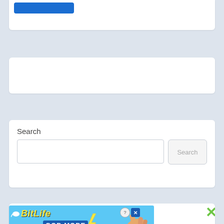[Figure (screenshot): Top white card with a blue button at upper left]
[Figure (screenshot): Empty white card in the middle section]
Search
[Figure (screenshot): Search widget card with a text input field and Search button]
[Figure (screenshot): BitLife advertisement banner: NOW WITH GOD MODE, with a hand pointing graphic and close X button in green]